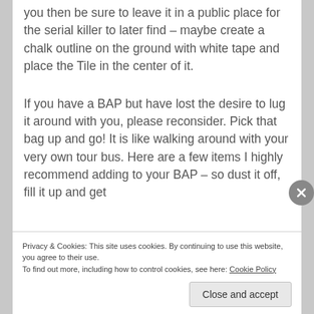you then be sure to leave it in a public place for the serial killer to later find – maybe create a chalk outline on the ground with white tape and place the Tile in the center of it.
If you have a BAP but have lost the desire to lug it around with you, please reconsider. Pick that bag up and go! It is like walking around with your very own tour bus. Here are a few items I highly recommend adding to your BAP – so dust it off, fill it up and get
Privacy & Cookies: This site uses cookies. By continuing to use this website, you agree to their use.
To find out more, including how to control cookies, see here: Cookie Policy
Close and accept